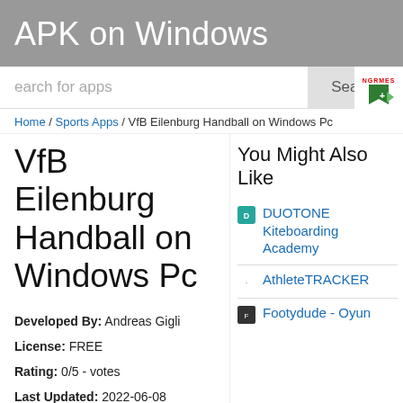APK on Windows
Search for apps
Home / Sports Apps / VfB Eilenburg Handball on Windows Pc
VfB Eilenburg Handball on Windows Pc
Developed By: Andreas Gigli
License: FREE
Rating: 0/5 - votes
Last Updated: 2022-06-08
Sponsored Links
You Might Also Like
DUOTONE Kiteboarding Academy
AthleteTRACKER
Footydude - Oyun